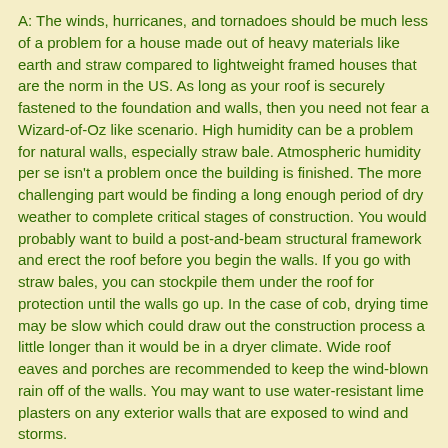A: The winds, hurricanes, and tornadoes should be much less of a problem for a house made out of heavy materials like earth and straw compared to lightweight framed houses that are the norm in the US. As long as your roof is securely fastened to the foundation and walls, then you need not fear a Wizard-of-Oz like scenario. High humidity can be a problem for natural walls, especially straw bale. Atmospheric humidity per se isn't a problem once the building is finished. The more challenging part would be finding a long enough period of dry weather to complete critical stages of construction. You would probably want to build a post-and-beam structural framework and erect the roof before you begin the walls. If you go with straw bales, you can stockpile them under the roof for protection until the walls go up. In the case of cob, drying time may be slow which could draw out the construction process a little longer than it would be in a dryer climate. Wide roof eaves and porches are recommended to keep the wind-blown rain off of the walls. You may want to use water-resistant lime plasters on any exterior walls that are exposed to wind and storms.
Q: I live in Germany and am very much longing to build my own cob house here, however, I can hardly find any information about the possibilities of building a cob house here in Germany. Perhaps there must be laws preventing it, but I don't exactly understand for what kind of reasons. It cannot possibly be for the climate, as it we have approximately the same climate as in Great Britain where cob building is more and more liked and expanding. I presume it would be possible to build a cob house in a rather "straight" shape too, isn't it? For certain laws as I know in Germany, are requiring certain shapes of buildings here, but this would not be a hindrance to build cob houses either, although most builders as far as I have seen up to now, prefer round or even "fancy" forms. I do